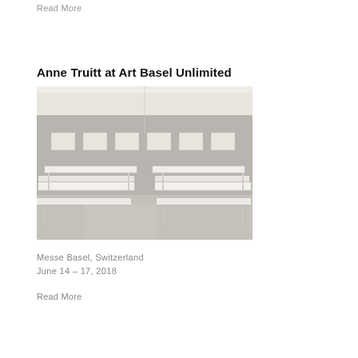Read More
Anne Truitt at Art Basel Unlimited
[Figure (photo): Interior of an art fair exhibition space with white walls, grey floor, six framed artworks on the back wall, and white rectangular tables/benches in the foreground. Overhead lighting visible. Minimalist gallery setting.]
Messe Basel, Switzerland
June 14 – 17, 2018
Read More